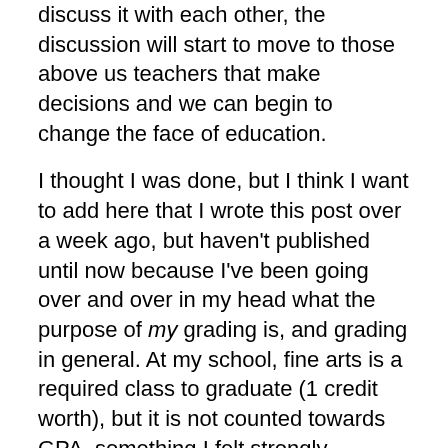discuss it with each other, the discussion will start to move to those above us teachers that make decisions and we can begin to change the face of education.
I thought I was done, but I think I want to add here that I wrote this post over a week ago, but haven't published until now because I've been going over and over in my head what the purpose of my grading is, and grading in general. At my school, fine arts is a required class to graduate (1 credit worth), but it is not counted towards GPA–something I felt strongly against, but now am not so sure anymore if I want it to count towards GPA. Above you read what Google says the purpose is supposed to be, but that's not reality. And after reading several posts/conversations this week in both TAB groups and non-TAB groups, the dilemma for me is even worse. I don't want grades to be punitive. I want my grades to reflect